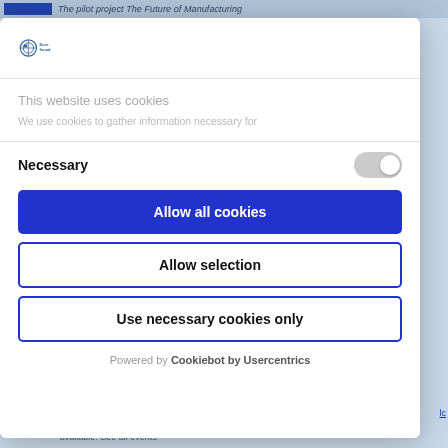[Figure (screenshot): Background webpage with top navigation bar showing blue button and italic text 'The pilot project The Future of Manufacturing'. Right side shows partially visible article text in blue.]
[Figure (screenshot): Cookie consent modal dialog overlay. Contains Eurofound logo, cookie notice text, Necessary toggle, three buttons (Allow all cookies, Allow selection, Use necessary cookies only), and Cookiebot by Usercentrics footer.]
This website uses cookies
We use cookies to gather information necessary for
Necessary
Allow all cookies
Allow selection
Use necessary cookies only
Powered by Cookiebot by Usercentrics